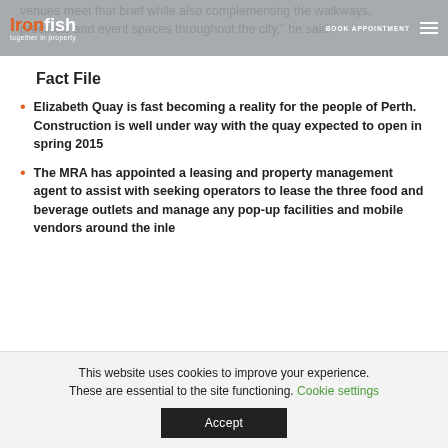Iron fish – together in property | BOOK APPOINTMENT
venues meet that brief while also complementing the walkways, precincts and event spaces throughout the city," he said.
Fact File
Elizabeth Quay is fast becoming a reality for the people of Perth. Construction is well under way with the quay expected to open in spring 2015
The MRA has appointed a leasing and property management agent to assist with seeking operators to lease the three food and beverage outlets and manage any pop-up facilities and mobile vendors around the inle
This website uses cookies to improve your experience. These are essential to the site functioning. Cookie settings
Accept